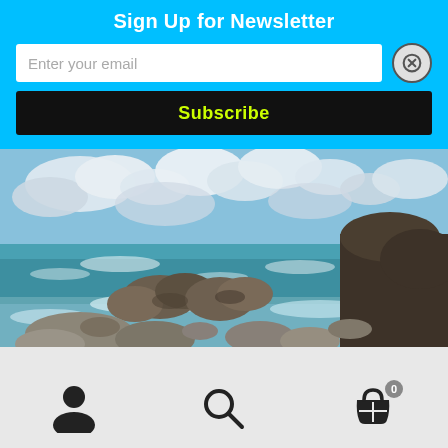Sign Up for Newsletter
Enter your email
Subscribe
[Figure (illustration): Painting of a rocky coastal seascape with ocean waves, large boulders in the foreground, and a sky with white clouds over blue water.]
[Figure (other): Bottom navigation bar with user account icon, search icon, and shopping cart icon with badge showing 0]